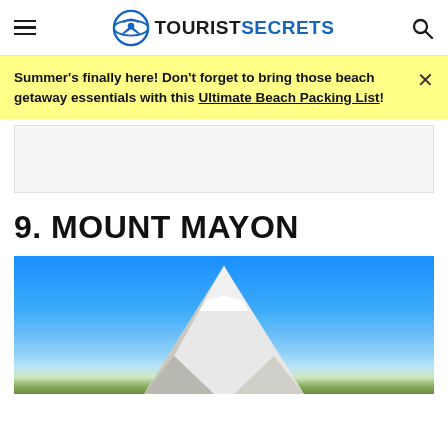TOURISTSECRETS
Summer's finally here! Don't forget to bring those beach getaway essentials with this Ultimate Beach Packing List!
[Figure (other): Advertisement placeholder block]
9. MOUNT MAYON
[Figure (photo): Photo of Mount Mayon volcano with snow-capped peak against a bright blue sky]